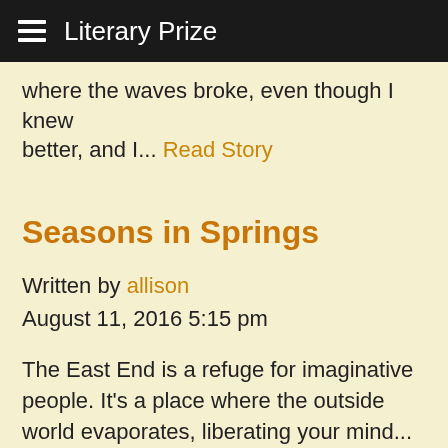Literary Prize
where the waves broke, even though I knew better, and I... Read Story
Seasons in Springs
Written by allison
August 11, 2016 5:15 pm
The East End is a refuge for imaginative people. It's a place where the outside world evaporates, liberating your mind... Read Story